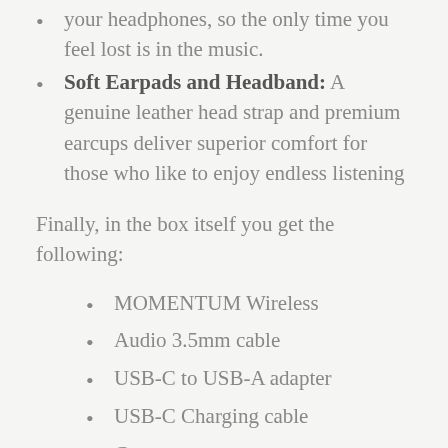your headphones, so the only time you feel lost is in the music.
Soft Earpads and Headband: A genuine leather head strap and premium earcups deliver superior comfort for those who like to enjoy endless listening
Finally, in the box itself you get the following:
MOMENTUM Wireless
Audio 3.5mm cable
USB-C to USB-A adapter
USB-C Charging cable
Case
Quick Guide
Safety Guide